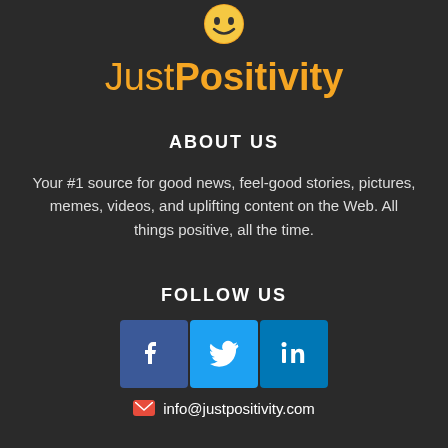[Figure (logo): JustPositivity logo with smiley emoji and orange bold text]
ABOUT US
Your #1 source for good news, feel-good stories, pictures, memes, videos, and uplifting content on the Web. All things positive, all the time.
FOLLOW US
[Figure (infographic): Social media icons: Facebook (blue), Twitter (light blue), LinkedIn (dark blue)]
info@justpositivity.com